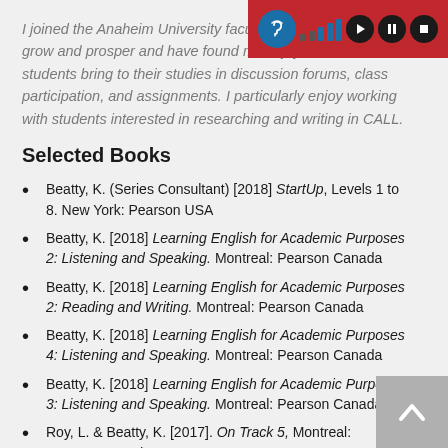I joined the Anaheim University faculty in 201... program grow and prosper and have found much joy in what the students bring to their studies in discussion forums, class participation, and assignments. I particularly enjoy working with students interested in researching and writing in CALL.
Selected Books
Beatty, K. (Series Consultant) [2018] StartUp, Levels 1 to 8. New York: Pearson USA
Beatty, K. [2018] Learning English for Academic Purposes 2: Listening and Speaking. Montreal: Pearson Canada
Beatty, K. [2018] Learning English for Academic Purposes 2: Reading and Writing. Montreal: Pearson Canada
Beatty, K. [2018] Learning English for Academic Purposes 4: Listening and Speaking. Montreal: Pearson Canada
Beatty, K. [2018] Learning English for Academic Purposes 3: Listening and Speaking. Montreal: Pearson Canada
Roy, L. & Beatty, K. [2017]. On Track 5, Montreal: Pearson Canada
Beatty, K. [2017] Learning English for Academic Purposes 1: Reading...